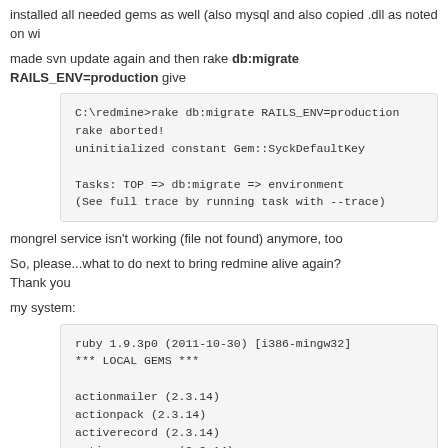installed all needed gems as well (also mysql and also copied .dll as noted on wi
made svn update again and then rake db:migrate RAILS_ENV=production give
C:\redmine>rake db:migrate RAILS_ENV=production
rake aborted!
uninitialized constant Gem::SyckDefaultKey

Tasks: TOP => db:migrate => environment
(See full trace by running task with --trace)
mongrel service isn't working (file not found) anymore, too
So, please...what to do next to bring redmine alive again?
Thank you
my system:
ruby 1.9.3p0 (2011-10-30) [i386-mingw32]
*** LOCAL GEMS ***

actionmailer (2.3.14)
actionpack (2.3.14)
activerecord (2.3.14)
activeresource (2.3.14)
activesupport (2.3.14)
bigdecimal (1.1.0)
cgi_multipart_eof_fix (2.5.0)
gem_plugin (0.2.3)
i18n (0.6.0)
io-console (0.3)